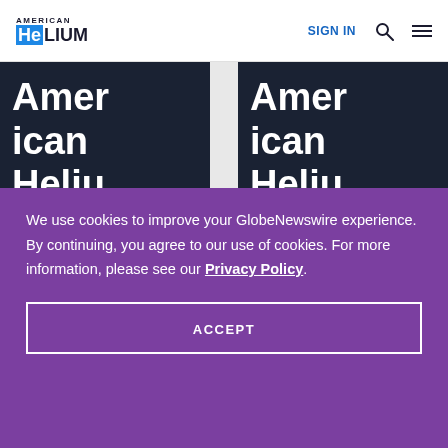AMERICAN HeLIUM | SIGN IN
[Figure (screenshot): Two dark navy card thumbnails showing partial text 'American Heliu' (truncated American Helium) on dark background]
We use cookies to improve your GlobeNewswire experience. By continuing, you agree to our use of cookies. For more information, please see our Privacy Policy.
ACCEPT